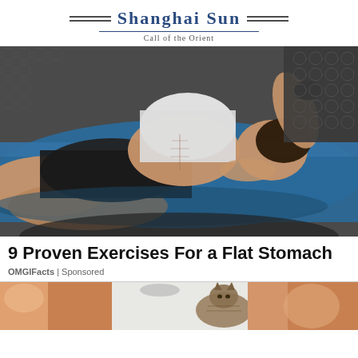Shanghai Sun — Call of the Orient
[Figure (photo): Woman with toned abs lying on a blue exercise mat on the floor, wearing white top and black shorts, with hands behind head in a crunch position]
9 Proven Exercises For a Flat Stomach
OMGIFacts | Sponsored
[Figure (photo): Partial view of a cat and human legs, bottom portion of a second article thumbnail]